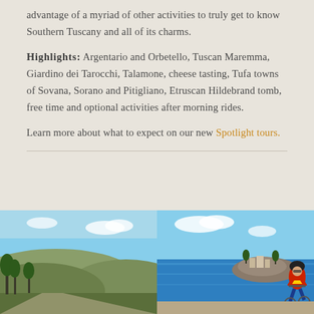advantage of a myriad of other activities to truly get to know Southern Tuscany and all of its charms.
Highlights: Argentario and Orbetello, Tuscan Maremma, Giardino dei Tarocchi, Talamone, cheese tasting, Tufa towns of Sovana, Sorano and Pitigliano, Etruscan Hildebrand tomb, free time and optional activities after morning rides.
Learn more about what to expect on our new Spotlight tours.
[Figure (photo): Landscape photo showing hilly Tuscan terrain with trees under a blue sky]
[Figure (photo): Photo of a cyclist wearing a helmet on a coastal road with a rocky island and blue sea in the background]